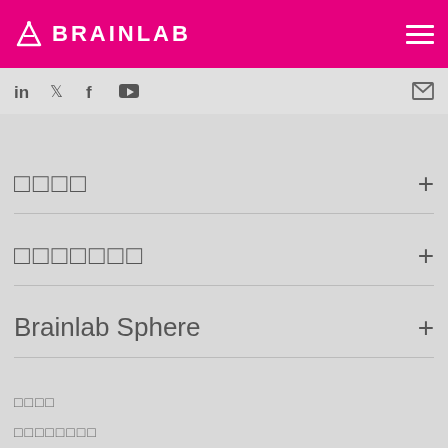BRAINLAB [navigation bar with logo and hamburger menu]
Social icons: LinkedIn, Twitter, Facebook, YouTube, Email
□□□□ +
□□□□□□□ +
Brainlab Sphere +
□□□□
□□□□□□□□